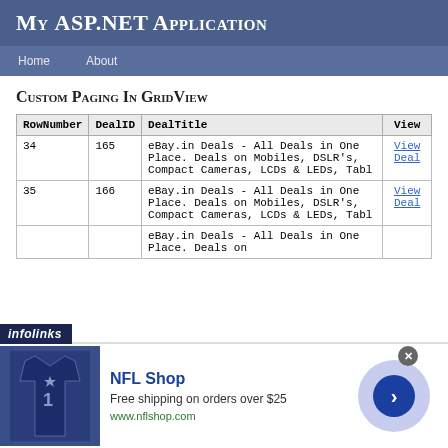My ASP.NET Application
Custom Paging In GridView
| RowNumber | DealID | DealTitle | View |
| --- | --- | --- | --- |
| 34 | 165 | eBay.in Deals - All Deals in One Place. Deals on Mobiles, DSLR's, Compact Cameras, LCDs & LEDs, Tabl | View Deal |
| 35 | 166 | eBay.in Deals - All Deals in One Place. Deals on Mobiles, DSLR's, Compact Cameras, LCDs & LEDs, Tabl | View Deal |
|  |  | eBay.in Deals - All Deals in One Place. Deals on |  |
[Figure (screenshot): Infolinks advertisement banner with NFL Shop ad showing a Dallas Cowboys jersey, text 'NFL Shop', 'Free shipping on orders over $25', 'www.nflshop.com', and a navigation arrow button]